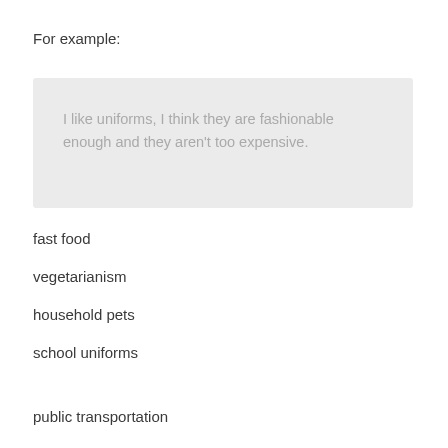For example:
I like uniforms, I think they are fashionable enough and they aren't too expensive.
fast food
vegetarianism
household pets
school uniforms
public transportation